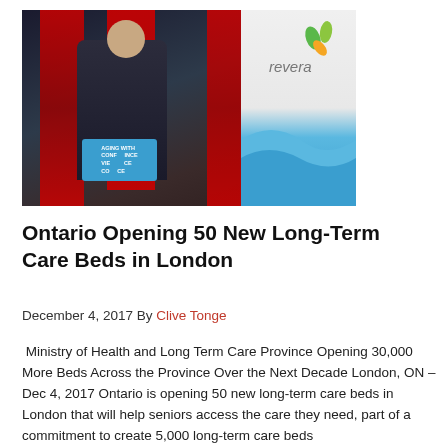[Figure (photo): A government official speaking at a podium with Canadian and Ontario flags in the background, and a Revera branded banner to the right. The podium sign reads 'AGING WITH CONFIDENCE'.]
Ontario Opening 50 New Long-Term Care Beds in London
December 4, 2017 By Clive Tonge
Ministry of Health and Long Term Care Province Opening 30,000 More Beds Across the Province Over the Next Decade London, ON – Dec 4, 2017 Ontario is opening 50 new long-term care beds in London that will help seniors access the care they need, part of a commitment to create 5,000 long-term care beds